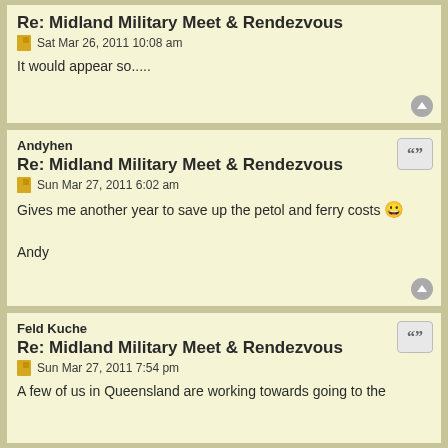Re: Midland Military Meet & Rendezvous
Sat Mar 26, 2011 10:08 am
It would appear so.....
Andyhen
Re: Midland Military Meet & Rendezvous
Sun Mar 27, 2011 6:02 am
Gives me another year to save up the petol and ferry costs 😀

Andy
Feld Kuche
Re: Midland Military Meet & Rendezvous
Sun Mar 27, 2011 7:54 pm
A few of us in Queensland are working towards going to the